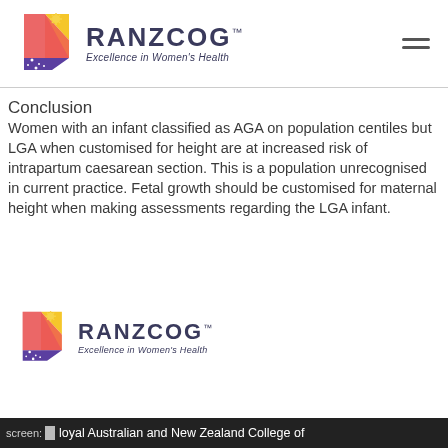RANZCOG™ Excellence in Women's Health
Conclusion
Women with an infant classified as AGA on population centiles but LGA when customised for height are at increased risk of intrapartum caesarean section. This is a population unrecognised in current practice. Fetal growth should be customised for maternal height when making assessments regarding the LGA infant.
[Figure (logo): RANZCOG logo — shield with gradient colors and stars, with text RANZCOG Excellence in Women's Health]
screen: Royal Australian and New Zealand College of